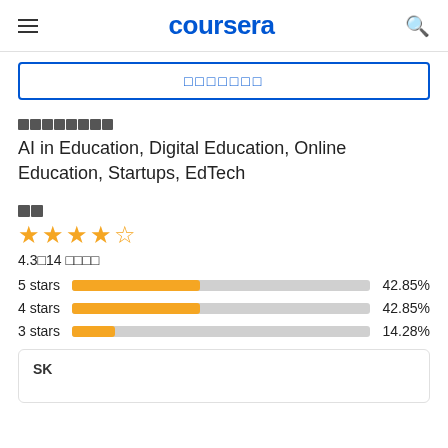coursera
[Figure (screenshot): Search box with placeholder characters and blue border]
🔲🔲🔲🔲🔲🔲🔲🔲
AI in Education, Digital Education, Online Education, Startups, EdTech
🔲🔲
★★★★☆
4.3 14 ratings
5 stars 42.85%
4 stars 42.85%
3 stars 14.28%
SK